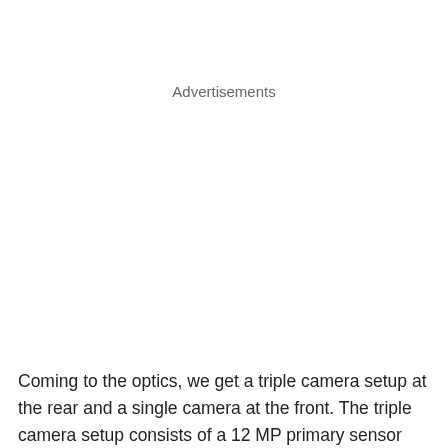Advertisements
Coming to the optics, we get a triple camera setup at the rear and a single camera at the front. The triple camera setup consists of a 12 MP primary sensor paired with an